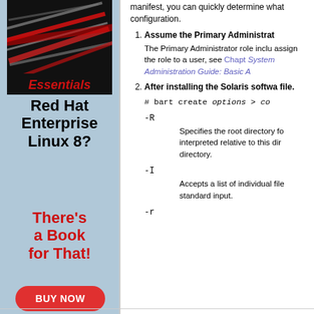[Figure (illustration): Book cover image with red and silver graphic design, title 'Essentials' in red text at bottom]
Red Hat Enterprise Linux 8?
There's a Book for That!
BUY NOW
manifest, you can quickly determine what configuration.
Assume the Primary Administrator role.
The Primary Administrator role inclu assign the role to a user, see Chapt System Administration Guide: Basic A
After installing the Solaris software file.
# bart create options > co
-R
Specifies the root directory fo interpreted relative to this dir directory.
-I
Accepts a list of individual file standard input.
-r